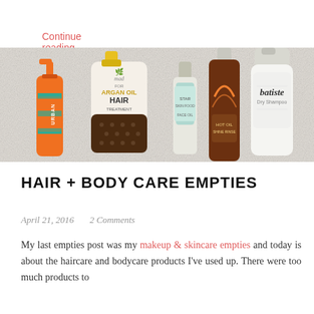Continue reading →
[Figure (photo): Flat lay photo of empty hair and body care product bottles on a white furry background, including an orange Urban spray bottle, Mad for Argan Oil Hair Treatment sachet, a small teal bottle, a brown tall bottle, and a Batiste Dry Shampoo can.]
HAIR + BODY CARE EMPTIES
April 21, 2016   2 Comments
My last empties post was my makeup & skincare empties and today is about the haircare and bodycare products I've used up. There were too much products to